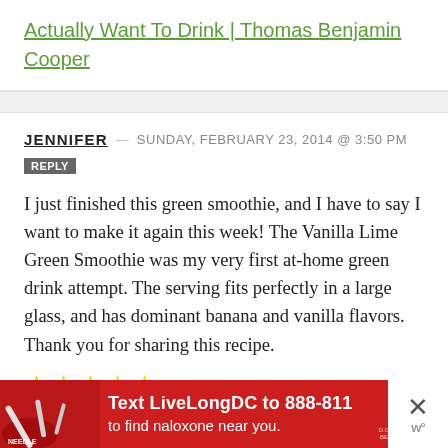Actually Want To Drink | Thomas Benjamin Cooper
JENNIFER — SUNDAY, FEBRUARY 23, 2014 @ 3:50 PM
REPLY
I just finished this green smoothie, and I have to say I want to make it again this week! The Vanilla Lime Green Smoothie was my very first at-home green drink attempt. The serving fits perfectly in a large glass, and has dominant banana and vanilla flavors. Thank you for sharing this recipe.
[Figure (other): Five yellow star rating icons]
[Figure (other): Advertisement banner: Text LiveLongDC to 888-811 to find naloxone near you. Red background with needle image and DBH logo.]